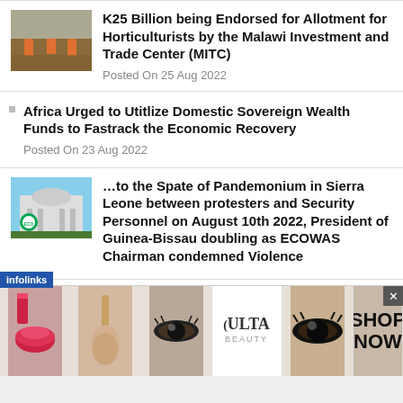[Figure (photo): Photo of people working in a field/farm, orange clothing]
K25 Billion being Endorsed for Allotment for Horticulturists by the Malawi Investment and Trade Center (MITC)
Posted On 25 Aug 2022
Africa Urged to Utitlize Domestic Sovereign Wealth Funds to Fastrack the Economic Recovery
Posted On 23 Aug 2022
[Figure (photo): Photo of a modern government building with ECOWAS logo]
…to the Spate of Pandemonium in Sierra Leone between protesters and Security Personnel on August 10th 2022, President of Guinea-Bissau doubling as ECOWAS Chairman condemned Violence
[Figure (photo): ULTA Beauty advertisement banner with makeup imagery and SHOP NOW text]